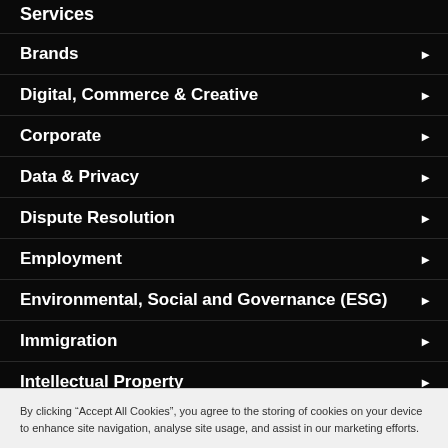Services
Brands
Digital, Commerce & Creative
Corporate
Data & Privacy
Dispute Resolution
Employment
Environmental, Social and Governance (ESG)
Immigration
Intellectual Property
Investigations
Partnerships & LLPs
By clicking “Accept All Cookies”, you agree to the storing of cookies on your device to enhance site navigation, analyse site usage, and assist in our marketing efforts.